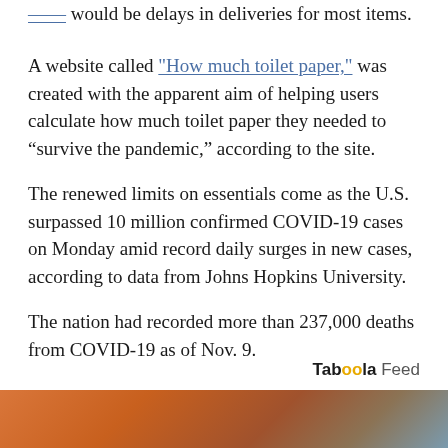would be delays in deliveries for most items.
A website called "How much toilet paper," was created with the apparent aim of helping users calculate how much toilet paper they needed to “survive the pandemic,” according to the site.
The renewed limits on essentials come as the U.S. surpassed 10 million confirmed COVID-19 cases on Monday amid record daily surges in new cases, according to data from Johns Hopkins University.
The nation had recorded more than 237,000 deaths from COVID-19 as of Nov. 9.
Taboola Feed
[Figure (photo): Partial photo at bottom of page showing blurred objects with orange and blue tones]